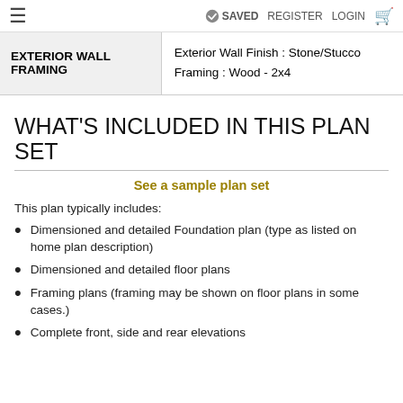≡  ✓ SAVED  REGISTER  LOGIN  🛒
| EXTERIOR WALL FRAMING | Details |
| --- | --- |
| EXTERIOR WALL FRAMING | Exterior Wall Finish : Stone/Stucco
Framing : Wood - 2x4 |
WHAT'S INCLUDED IN THIS PLAN SET
See a sample plan set
This plan typically includes:
Dimensioned and detailed Foundation plan (type as listed on home plan description)
Dimensioned and detailed floor plans
Framing plans (framing may be shown on floor plans in some cases.)
Complete front, side and rear elevations